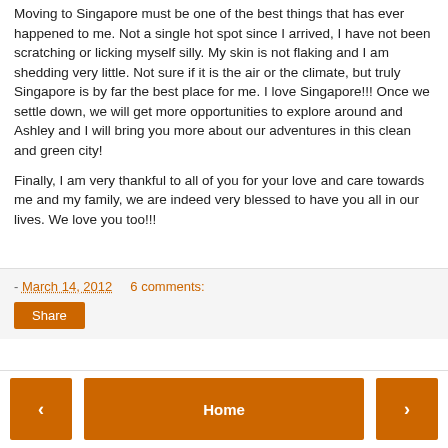Moving to Singapore must be one of the best things that has ever happened to me. Not a single hot spot since I arrived, I have not been scratching or licking myself silly. My skin is not flaking and I am shedding very little. Not sure if it is the air or the climate, but truly Singapore is by far the best place for me. I love Singapore!!! Once we settle down, we will get more opportunities to explore around and Ashley and I will bring you more about our adventures in this clean and green city!
Finally, I am very thankful to all of you for your love and care towards me and my family, we are indeed very blessed to have you all in our lives. We love you too!!!
- March 14, 2012   6 comments:   Share